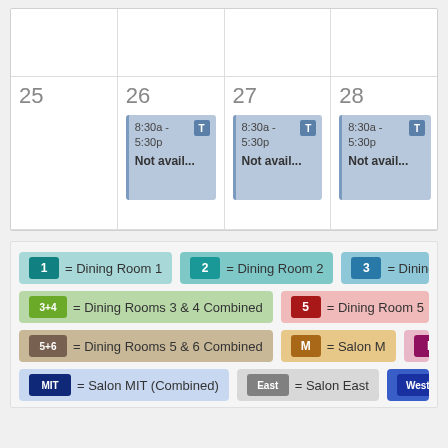| 25 | 26 | 27 | 28 |
| --- | --- | --- | --- |
|  | 8:30a - 5:30p Not avail... | 8:30a - 5:30p Not avail... | 8:30a - 5:30p Not avail... |
1 = Dining Room 1   2 = Dining Room 2   3 = Dining Room...
3+4 = Dining Rooms 3 & 4 Combined   5 = Dining Room 5
5+6 = Dining Rooms 5 & 6 Combined   M = Salon M   I = S...
MIT = Salon MIT (Combined)   East = Salon East   West = S...